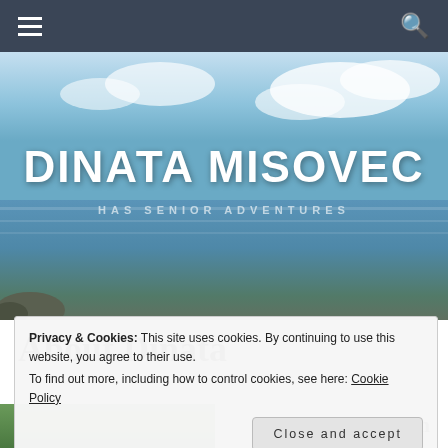Navigation bar with hamburger menu and search icon
[Figure (photo): Hero banner image showing a tropical coastal seascape with blue sky, white clouds, and calm ocean water, with rocks visible on the lower left. Large white text reads 'DINATA MISOVEC' and subtitle 'HAS SENIOR ADVENTURES'.]
DINATA MISOVEC
HAS SENIOR ADVENTURES
About Dinata
Privacy & Cookies: This site uses cookies. By continuing to use this website, you agree to their use.
To find out more, including how to control cookies, see here: Cookie Policy
Close and accept
I am